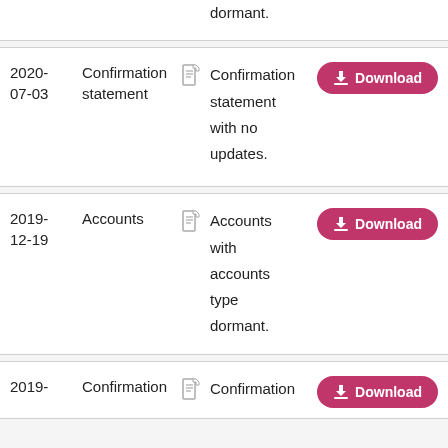dormant.
| Date | Type |  | Description | Action |
| --- | --- | --- | --- | --- |
| 2020-07-03 | Confirmation statement |  | Confirmation statement with no updates. | Download |
| 2019-12-19 | Accounts |  | Accounts with accounts type dormant. | Download |
| 2019- | Confirmation |  | Confirmation | Download |